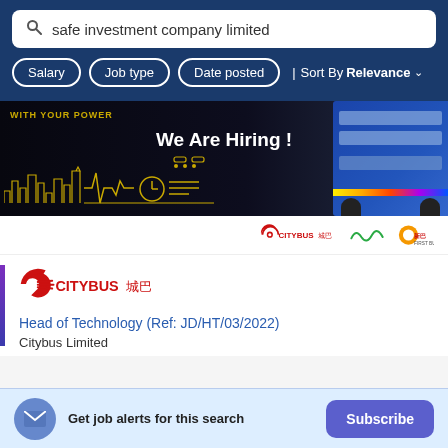safe investment company limited
Salary | Job type | Date posted | Sort By Relevance
[Figure (photo): Citybus 'We Are Hiring!' advertisement banner with city skyline illustration, clock and list icons, and a blue double-decker bus on the right. Text reads 'WITH YOUR POWER' and 'We Are Hiring!']
[Figure (logo): Citybus 城巴 and NWFB 新巴 logos in the listing header]
[Figure (logo): Citybus 城巴 company logo in the job listing]
Head of Technology (Ref: JD/HT/03/2022)
Citybus Limited
Get job alerts for this search
Subscribe